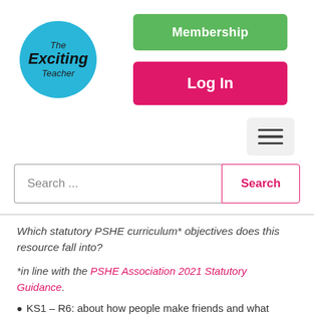[Figure (logo): The Exciting Teacher circular logo with blue background]
Membership
Log In
[Figure (other): Hamburger menu icon button]
Search ...
Search
Which statutory PSHE curriculum* objectives does this resource fall into?
*in line with the PSHE Association 2021 Statutory Guidance.
KS1 – R6: about how people make friends and what makes a good friendship.